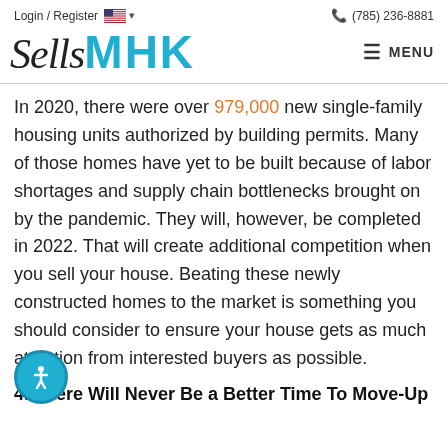Login / Register  (785) 236-8881
[Figure (logo): SellsMHK real estate logo with cursive 'Sells' in black and bold 'MHK' in teal/blue]
In 2020, there were over 979,000 new single-family housing units authorized by building permits. Many of those homes have yet to be built because of labor shortages and supply chain bottlenecks brought on by the pandemic. They will, however, be completed in 2022. That will create additional competition when you sell your house. Beating these newly constructed homes to the market is something you should consider to ensure your house gets as much attention from interested buyers as possible.
4. There Will Never Be a Better Time To Move-Up